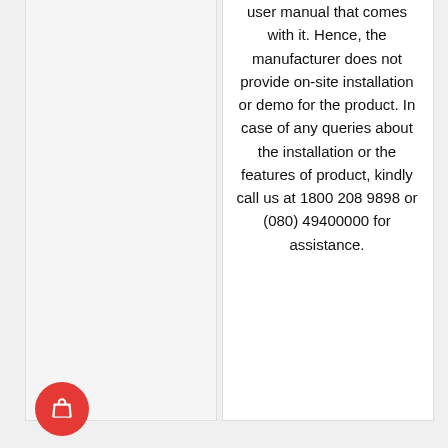user manual that comes with it. Hence, the manufacturer does not provide on-site installation or demo for the product. In case of any queries about the installation or the features of product, kindly call us at 1800 208 9898 or (080) 49400000 for assistance.
[Figure (illustration): Red circular FAB (floating action button) with a white shopping bag icon]